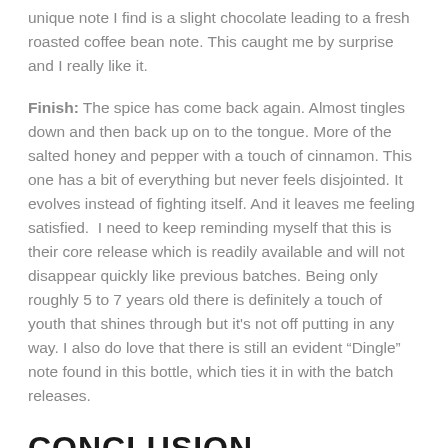unique note I find is a slight chocolate leading to a fresh roasted coffee bean note. This caught me by surprise and I really like it.
Finish: The spice has come back again. Almost tingles down and then back up on to the tongue. More of the salted honey and pepper with a touch of cinnamon. This one has a bit of everything but never feels disjointed. It evolves instead of fighting itself. And it leaves me feeling satisfied. I need to keep reminding myself that this is their core release which is readily available and will not disappear quickly like previous batches. Being only roughly 5 to 7 years old there is definitely a touch of youth that shines through but it’s not off putting in any way. I also do love that there is still an evident “Dingle” note found in this bottle, which ties it in with the batch releases.
CONCLUSION